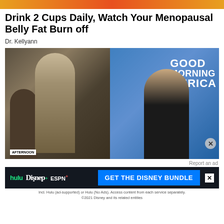[Figure (photo): Top banner image with orange/red gradient]
Drink 2 Cups Daily, Watch Your Menopausal Belly Fat Burn off
Dr. Kellyann
[Figure (photo): Screenshot from Good Morning America TV show featuring two women standing at a table with smoothies and blender, with GMA logo visible]
Report an ad
[Figure (screenshot): Disney Bundle advertisement showing Hulu, Disney+, and ESPN+ logos with blue CTA button saying GET THE DISNEY BUNDLE and fine print about Hulu ad-supported and No Ads options]